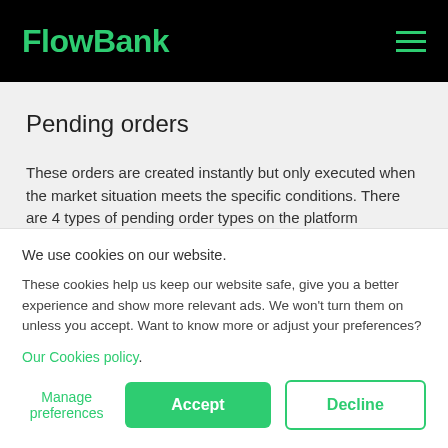FlowBank
Pending orders
These orders are created instantly but only executed when the market situation meets the specific conditions. There are 4 types of pending order types on the platform
Buy Limit
We use cookies on our website.
These cookies help us keep our website safe, give you a better experience and show more relevant ads. We won't turn them on unless you accept. Want to know more or adjust your preferences?
Our Cookies policy.
Manage preferences | Accept | Decline